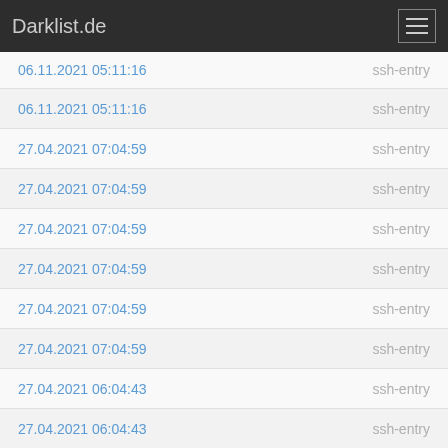Darklist.de
06.11.2021 05:11:16  ssh-entry
06.11.2021 05:11:16  ssh-entry
27.04.2021 07:04:59  ssh-entry
27.04.2021 07:04:59  ssh-entry
27.04.2021 07:04:59  ssh-entry
27.04.2021 07:04:59  ssh-entry
27.04.2021 07:04:59  ssh-entry
27.04.2021 07:04:59  ssh-entry
27.04.2021 06:04:43  ssh-entry
27.04.2021 06:04:43  ssh-entry
27.04.2021 06:04:43  ssh-entry